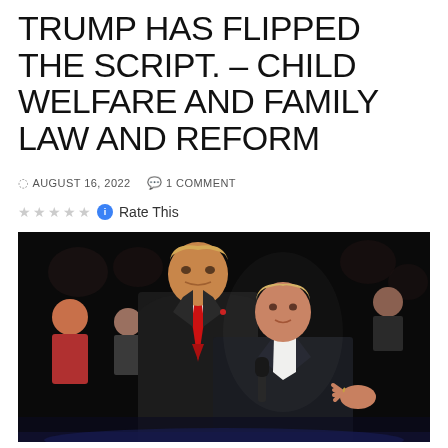TRUMP HAS FLIPPED THE SCRIPT. – CHILD WELFARE AND FAMILY LAW AND REFORM
AUGUST 16, 2022   1 COMMENT
Rate This
[Figure (photo): Donald Trump in dark suit with red tie stands behind Hillary Clinton who holds a microphone and gestures with her hand, at a presidential debate. Audience members are visible in the dark background.]